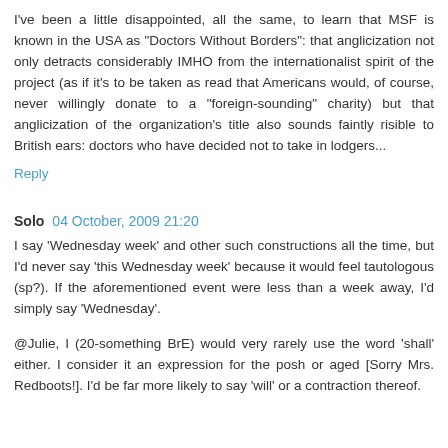I've been a little disappointed, all the same, to learn that MSF is known in the USA as "Doctors Without Borders": that anglicization not only detracts considerably IMHO from the internationalist spirit of the project (as if it's to be taken as read that Americans would, of course, never willingly donate to a "foreign-sounding" charity) but that anglicization of the organization's title also sounds faintly risible to British ears: doctors who have decided not to take in lodgers...
Reply
Solo  04 October, 2009 21:20
I say 'Wednesday week' and other such constructions all the time, but I'd never say 'this Wednesday week' because it would feel tautologous (sp?). If the aforementioned event were less than a week away, I'd simply say 'Wednesday'.
@Julie, I (20-something BrE) would very rarely use the word 'shall' either. I consider it an expression for the posh or aged [Sorry Mrs. Redboots!]. I'd be far more likely to say 'will' or a contraction thereof.